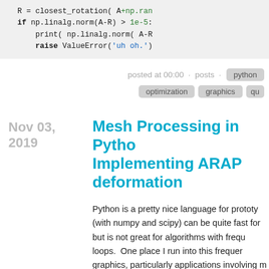[Figure (screenshot): Code snippet showing Python code with syntax highlighting: 'if np.linalg.norm(A-R) > 1e-5:' with print and raise ValueError lines]
posted at 00:00 · posts · python
optimization · graphics · qu...
Nov 03, 2019
Mesh Processing in Python: Implementing ARAP deformation
Python is a pretty nice language for prototy... (with numpy and scipy) can be quite fast for... but is not great for algorithms with frequ... loops. One place I run into this frequen... graphics, particularly applications involving m...